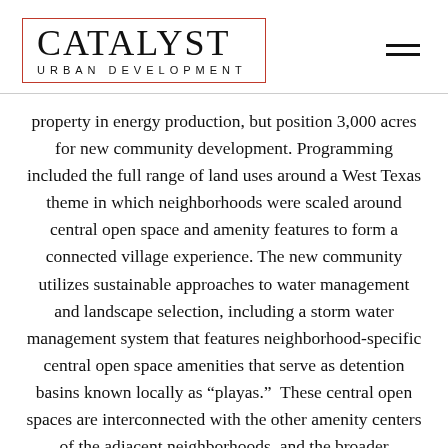CATALYST URBAN DEVELOPMENT
property in energy production, but position 3,000 acres for new community development. Programming included the full range of land uses around a West Texas theme in which neighborhoods were scaled around central open space and amenity features to form a connected village experience. The new community utilizes sustainable approaches to water management and landscape selection, including a storm water management system that features neighborhood-specific central open space amenities that serve as detention basins known locally as “playas.”  These central open spaces are interconnected with the other amenity centers of the adjacent neighborhoods, and the broader